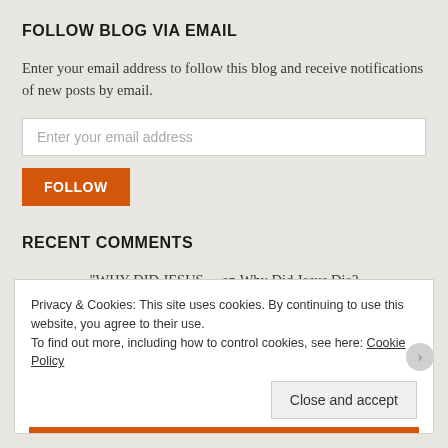FOLLOW BLOG VIA EMAIL
Enter your email address to follow this blog and receive notifications of new posts by email.
Enter your email address
FOLLOW
RECENT COMMENTS
“WHY DID JESUS… on Why Did Jesus Die?
Privacy & Cookies: This site uses cookies. By continuing to use this website, you agree to their use.
To find out more, including how to control cookies, see here: Cookie Policy
Close and accept